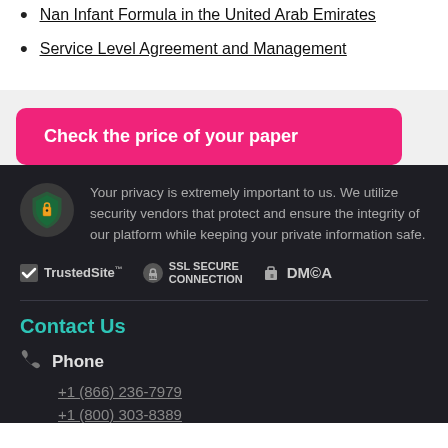Nan Infant Formula in the United Arab Emirates
Service Level Agreement and Management
Check the price of your paper
Your privacy is extremely important to us. We utilize security vendors that protect and ensure the integrity of our platform while keeping your private information safe.
[Figure (logo): TrustedSite, SSL SECURE CONNECTION, and DMCA badges]
Contact Us
Phone
+1 (866) 236-7979
+1 (800) 303-8389